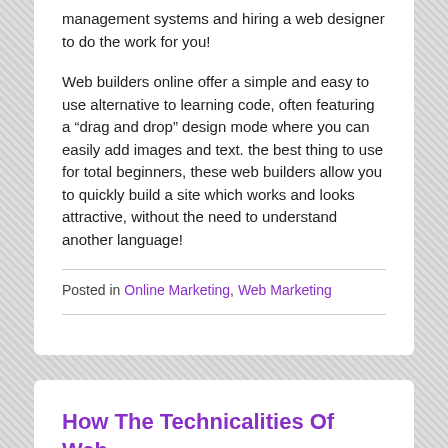management systems and hiring a web designer to do the work for you!
Web builders online offer a simple and easy to use alternative to learning code, often featuring a “drag and drop” design mode where you can easily add images and text. the best thing to use for total beginners, these web builders allow you to quickly build a site which works and looks attractive, without the need to understand another language!
Posted in Online Marketing, Web Marketing
How The Technicalities Of Web